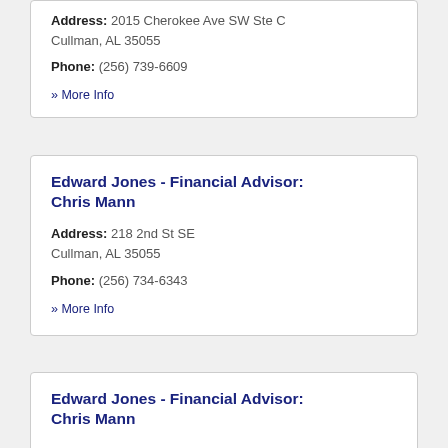Address: 2015 Cherokee Ave SW Ste C Cullman, AL 35055
Phone: (256) 739-6609
» More Info
Edward Jones - Financial Advisor: Chris Mann
Address: 218 2nd St SE Cullman, AL 35055
Phone: (256) 734-6343
» More Info
Edward Jones - Financial Advisor: Chris Mann